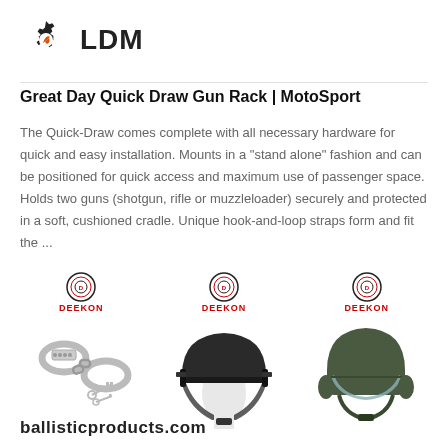[Figure (logo): LDM logo with gear/wrench icon in black and orange, and bold LDM text]
Great Day Quick Draw Gun Rack | MotoSport
The Quick-Draw comes complete with all necessary hardware for quick and easy installation. Mounts in a "stand alone" fashion and can be positioned for quick access and maximum use of passenger space. Holds two guns (shotgun, rifle or muzzleloader) securely and protected in a soft, cushioned cradle. Unique hook-and-loop straps form and fit the ...
[Figure (photo): Three product images each with DEEKON badge: handcuffs with keys, military tactical helmet on mannequin head, green riot/pilot helmet with visor]
ballisticproducts.com